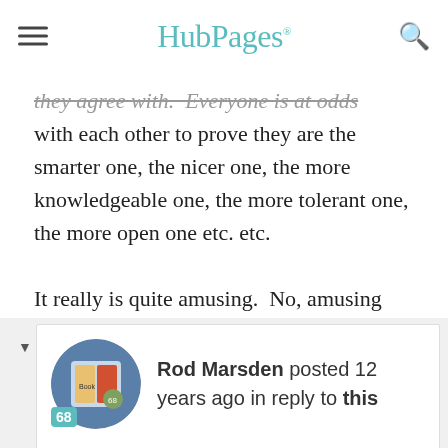HubPages
they agree with. Everyone is at odds with each other to prove they are the smarter one, the nicer one, the more knowledgeable one, the more tolerant one, the more open one etc. etc.

It really is quite amusing. No, amusing isn't the right word. It's ... interesting.
reply   report
Rod Marsden posted 12 years ago in reply to this
I just see the best in the Buddhism I